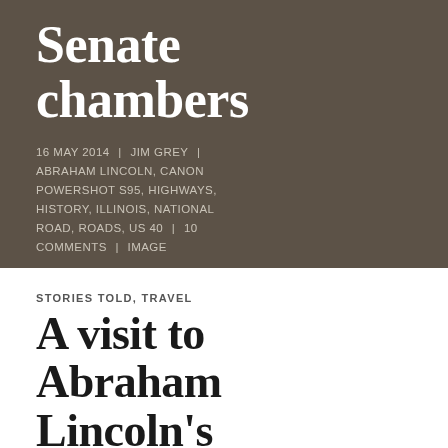Senate chambers
16 MAY 2014 | JIM GREY | ABRAHAM LINCOLN, CANON POWERSHOT S95, HIGHWAYS, HISTORY, ILLINOIS, NATIONAL ROAD, ROADS, US 40 | 10 COMMENTS | IMAGE
STORIES TOLD, TRAVEL
A visit to Abraham Lincoln's birthplace